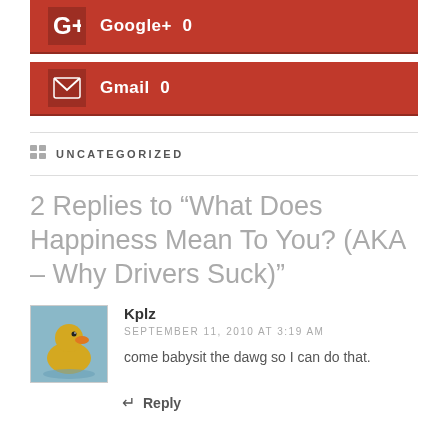Google+  0
Gmail  0
UNCATEGORIZED
2 Replies to “What Does Happiness Mean To You? (AKA – Why Drivers Suck)”
Kplz
SEPTEMBER 11, 2010 AT 3:19 AM
come babysit the dawg so I can do that.
Reply